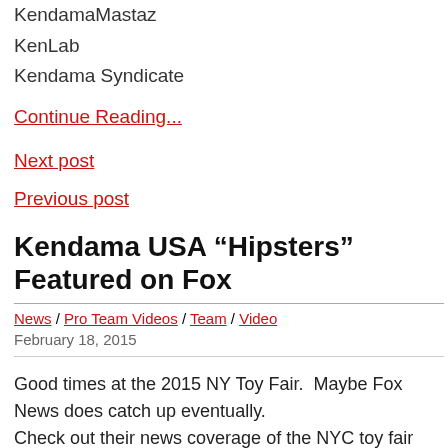KendamaMastaz
KenLab
Kendama Syndicate
Continue Reading...
Next post
Previous post
Kendama USA “Hipsters” Featured on Fox
News / Pro Team Videos / Team / Video
February 18, 2015
Good times at the 2015 NY Toy Fair.  Maybe Fox News does catch up eventually.
Check out their news coverage of the NYC toy fair including...